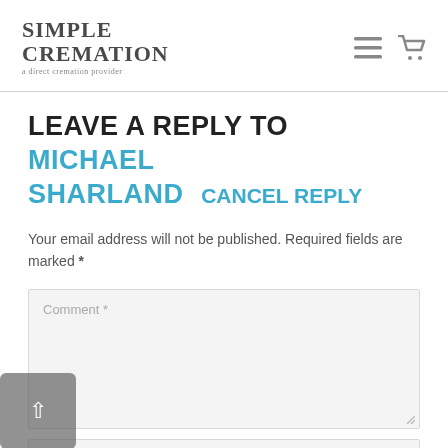SIMPLE CREMATION a direct cremation provider
LEAVE A REPLY TO MICHAEL SHARLAND  CANCEL REPLY
Your email address will not be published. Required fields are marked *
Comment *
Name *